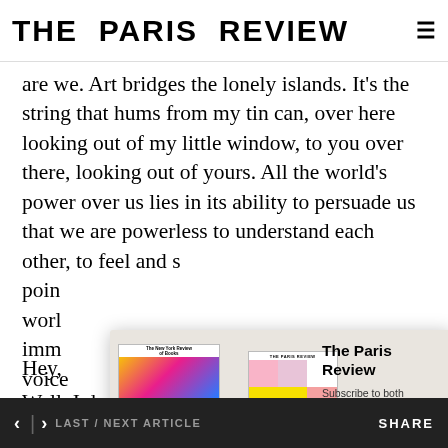THE PARIS REVIEW
are we. Art bridges the lonely islands. It's the string that hums from my tin can, over here looking out of my little window, to you over there, looking out of yours. All the world's power over us lies in its ability to persuade us that we are powerless to understand each other, to feel and s... poin... worl... imm... voice... simp...
[Figure (illustration): Subscription modal overlay showing New York Review of Books cover plus The Paris Review cover with a Subscribe Now button]
Hey,
Well, I don't know about you, but I feel a little better
< | > LAST / NEXT ARTICLE   SHARE